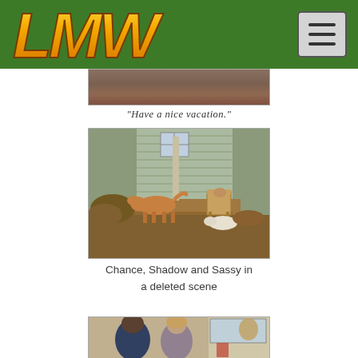LMW (logo) with navigation hamburger menu on green background
[Figure (photo): Partial movie screenshot shown at top (cropped), brown/dark tones]
“Have a nice vacation.”
[Figure (photo): Chance, Shadow and Sassy standing outside a house porch in a deleted scene from Homeward Bound]
Chance, Shadow and Sassy in a deleted scene
[Figure (photo): Two people (man and woman) inside a room, partial screenshot at bottom of page]